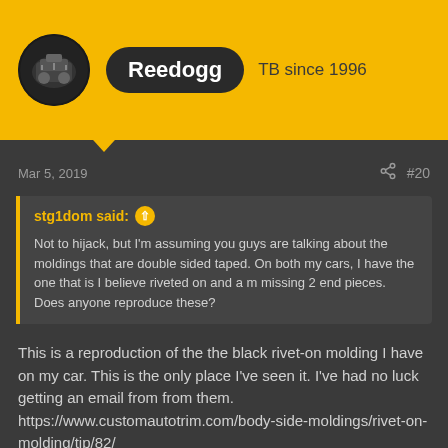Reedogg  TB since 1996
Mar 5, 2019   #20
stg1dom said:  Not to hijack, but I'm assuming you guys are talking about the moldings that are double sided taped. On both my cars, I have the one that is I believe riveted on and a m missing 2 end pieces. Does anyone reproduce these?
This is a reproduction of the the black rivet-on molding I have on my car. This is the only place I've seen it. I've had no luck getting an email from from them. https://www.customautotrim.com/body-side-moldings/rivet-on-molding/tip/82/